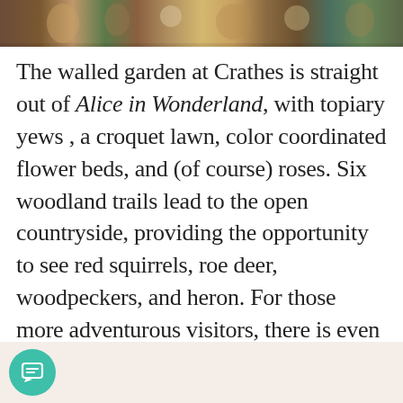[Figure (photo): Partial view of a decorative tapestry or mural featuring colorful illustrated figures and ornate patterns, cropped at the top of the page.]
The walled garden at Crathes is straight out of Alice in Wonderland, with topiary yews , a croquet lawn, color coordinated flower beds, and (of course) roses. Six woodland trails lead to the open countryside, providing the opportunity to see red squirrels, roe deer, woodpeckers, and heron. For those more adventurous visitors, there is even a ropes course located on the castle grounds!
[Figure (other): Light pinkish-beige banner/bar at the bottom of the page with a teal circular chat button icon on the left.]